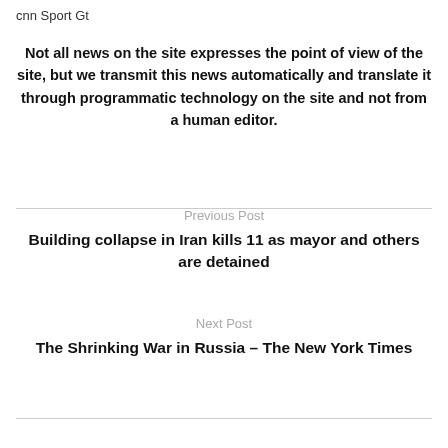cnn Sport Gt
Not all news on the site expresses the point of view of the site, but we transmit this news automatically and translate it through programmatic technology on the site and not from a human editor.
Previous Post
Building collapse in Iran kills 11 as mayor and others are detained
Next Post
The Shrinking War in Russia – The New York Times